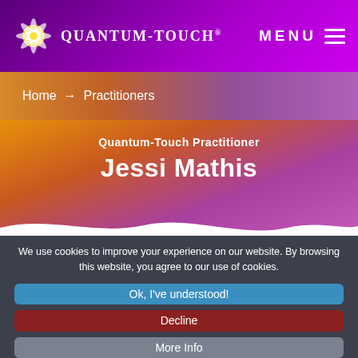QUANTUM-TOUCH® MENU
Home → Practitioners
Quantum-Touch Practitioner
Jessi Mathis
We use cookies to improve your experience on our website. By browsing this website, you agree to our use of cookies.
Ok, I've understood!
Decline
More Info